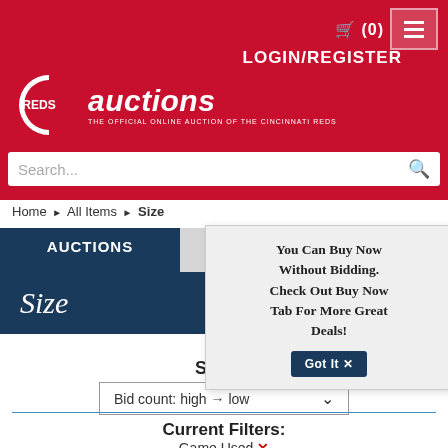[Figure (screenshot): Cincinnati Reds Auctions website header with red background, Reds C logo, 'auctions' text, cart icon showing (0), LOGIN/REGISTER link, hamburger menu button, and search bar]
Home ▶ All Items ▶ Size
AUCTIONS
BUY NOW
You Can Buy Now Without Bidding. Check Out Buy Now Tab For More Great Deals!
Got It ✕
Size
SORT
Bid count: high → low
Current Filters:
Game Used ✕
Size: 46 ✕